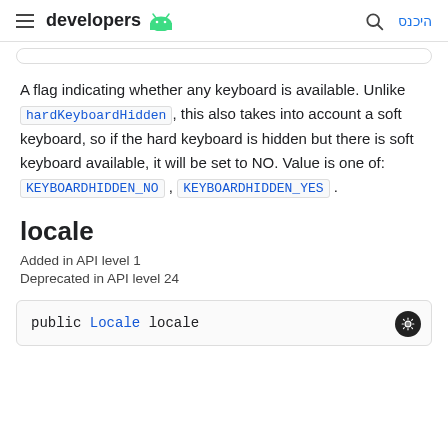developers [Android logo] | [search] היכנס
A flag indicating whether any keyboard is available. Unlike hardKeyboardHidden, this also takes into account a soft keyboard, so if the hard keyboard is hidden but there is soft keyboard available, it will be set to NO. Value is one of: KEYBOARDHIDDEN_NO, KEYBOARDHIDDEN_YES.
locale
Added in API level 1
Deprecated in API level 24
public Locale locale